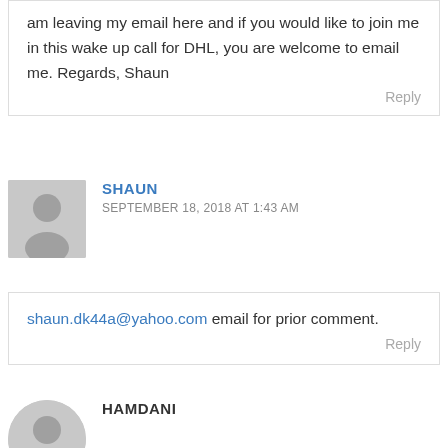am leaving my email here and if you would like to join me in this wake up call for DHL, you are welcome to email me. Regards, Shaun
Reply
SHAUN
SEPTEMBER 18, 2018 AT 1:43 AM
shaun.dk44a@yahoo.com email for prior comment.
Reply
HAMDANI